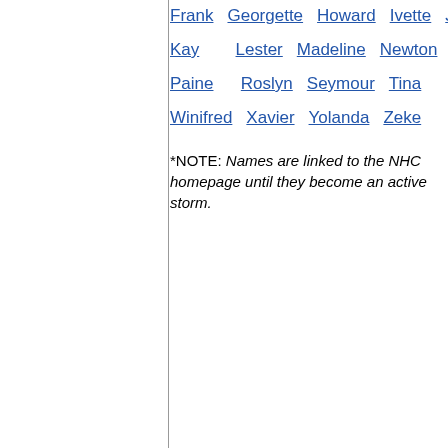Frank  Georgette  Howard  Ivette  Javier
Kay  Lester  Madeline  Newton  Orlene
Paine  Roslyn  Seymour  Tina  Virgil
Winifred  Xavier  Yolanda  Zeke
*NOTE: Names are linked to the NHC homepage until they become an active storm.